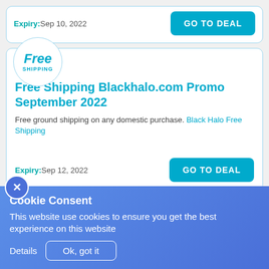Expiry: Sep 10, 2022
GO TO DEAL
Free SHIPPING
Free Shipping Blackhalo.com Promo September 2022
Free ground shipping on any domestic purchase. Black Halo Free Shipping
Expiry: Sep 12, 2022
GO TO DEAL
Cookie Consent
This website use cookies to ensure you get the best experience on this website
Details
Ok, got it